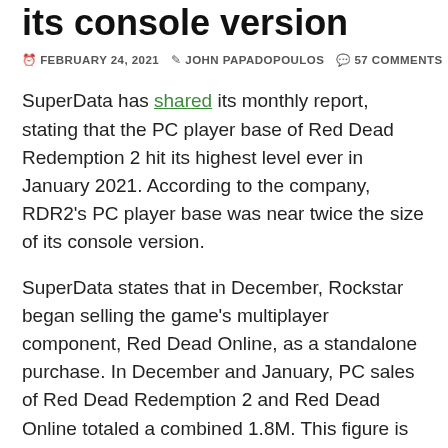its console version
FEBRUARY 24, 2021 · JOHN PAPADOPOULOS · 57 COMMENTS
SuperData has shared its monthly report, stating that the PC player base of Red Dead Redemption 2 hit its highest level ever in January 2021. According to the company, RDR2's PC player base was near twice the size of its console version.
SuperData states that in December, Rockstar began selling the game's multiplayer component, Red Dead Online, as a standalone purchase. In December and January, PC sales of Red Dead Redemption 2 and Red Dead Online totaled a combined 1.8M. This figure is far higher than the console version, which sits near 611K. Thus, the PC edition of the game benefited the most from the deal. SuperData speculates that some owners of the console version likely picked up the game on PC for cheap in order to take advantage of features like improved graphics.